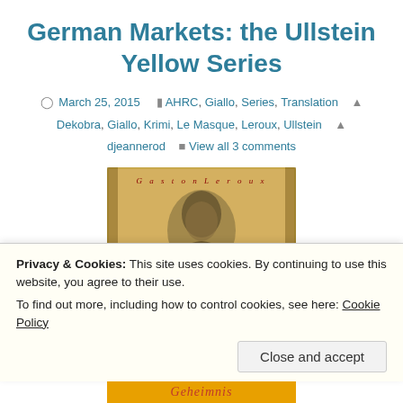German Markets: the Ullstein Yellow Series
March 25, 2015   AHRC, Giallo, Series, Translation   Dekobra, Giallo, Krimi, Le Masque, Leroux, Ullstein   djeannerod   View all 3 comments
[Figure (photo): Old book cover showing a portrait illustration with text 'Gaston Leroux' in yellow/aged style]
Privacy & Cookies: This site uses cookies. By continuing to use this website, you agree to their use.
To find out more, including how to control cookies, see here: Cookie Policy
Close and accept